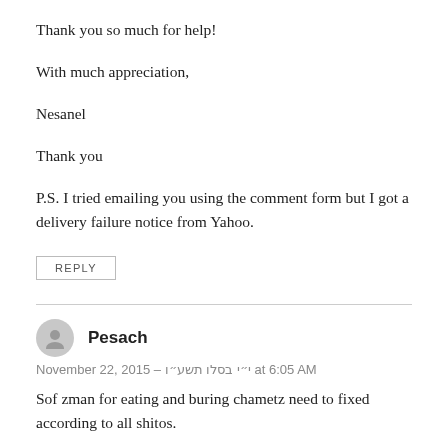Thank you so much for help!
With much appreciation,
Nesanel
Thank you
P.S. I tried emailing you using the comment form but I got a delivery failure notice from Yahoo.
REPLY
Pesach
November 22, 2015 – י״י בסלו תשע״ו at 6:05 AM
Sof zman for eating and buring chametz need to fixed according to all shitos.